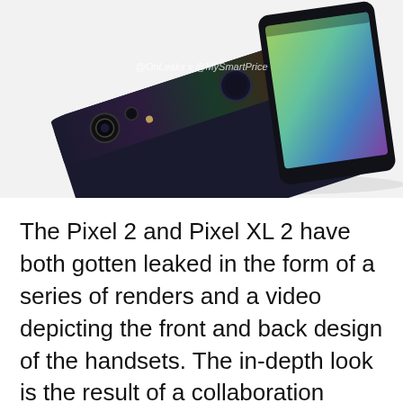[Figure (photo): Render of two dark/black smartphones (Google Pixel 2 and Pixel XL 2) shown from the back and front at an angle on a white background. Watermark reads '@OnLeaks x @MySmartPrice'.]
The Pixel 2 and Pixel XL 2 have both gotten leaked in the form of a series of renders and a video depicting the front and back design of the handsets. The in-depth look is the result of a collaboration between MySmartPrice